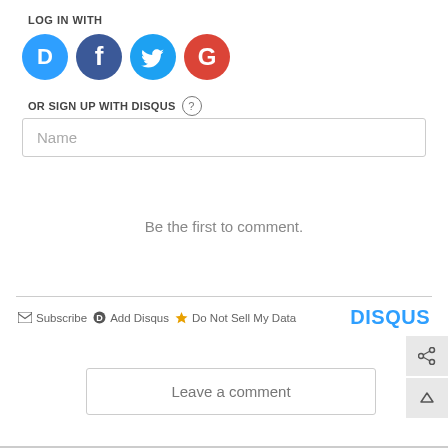LOG IN WITH
[Figure (illustration): Four social login icon buttons: Disqus (blue speech bubble with D), Facebook (dark blue circle with f), Twitter (light blue circle with bird), Google (red circle with G)]
OR SIGN UP WITH DISQUS (?)
[Figure (screenshot): Name input text field with placeholder text 'Name']
Be the first to comment.
Subscribe   Add Disqus   Do Not Sell My Data   DISQUS
[Figure (illustration): Share button and up arrow (back to top) button on right side]
Leave a comment